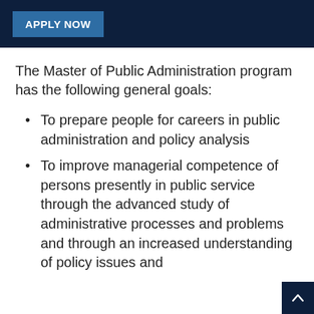[Figure (other): Dark navy header bar with a blue 'APPLY NOW' button on the left side]
The Master of Public Administration program has the following general goals:
To prepare people for careers in public administration and policy analysis
To improve managerial competence of persons presently in public service through the advanced study of administrative processes and problems and through an increased understanding of policy issues and